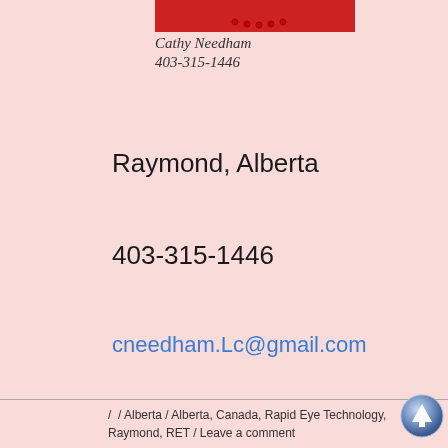[Figure (photo): Partial photo of Cathy Needham in red outfit with necklace, cropped at top of page]
Cathy Needham
403-315-1446
Raymond, Alberta
403-315-1446
cneedham.Lc@gmail.com
energyunfolding.com
/ / Alberta / Alberta, Canada, Rapid Eye Technology, Raymond, RET / Leave a comment